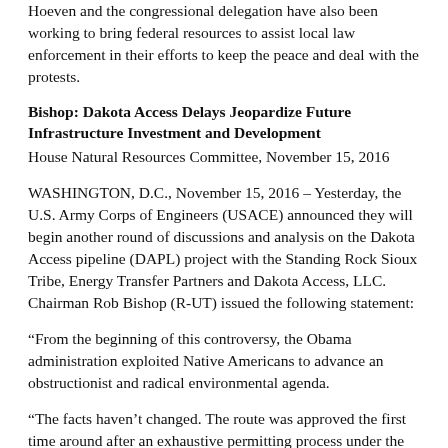Hoeven and the congressional delegation have also been working to bring federal resources to assist local law enforcement in their efforts to keep the peace and deal with the protests.
Bishop: Dakota Access Delays Jeopardize Future Infrastructure Investment and Development
House Natural Resources Committee, November 15, 2016
WASHINGTON, D.C., November 15, 2016 – Yesterday, the U.S. Army Corps of Engineers (USACE) announced they will begin another round of discussions and analysis on the Dakota Access pipeline (DAPL) project with the Standing Rock Sioux Tribe, Energy Transfer Partners and Dakota Access, LLC. Chairman Rob Bishop (R-UT) issued the following statement:
“From the beginning of this controversy, the Obama administration exploited Native Americans to advance an obstructionist and radical environmental agenda.
“The facts haven’t changed. The route was approved the first time around after an exhaustive permitting process under the